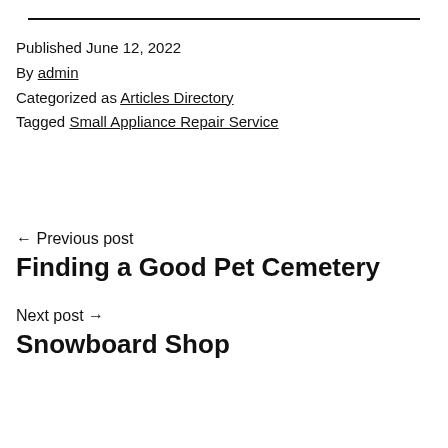Published June 12, 2022
By admin
Categorized as Articles Directory
Tagged Small Appliance Repair Service
← Previous post
Finding a Good Pet Cemetery
Next post →
Snowboard Shop